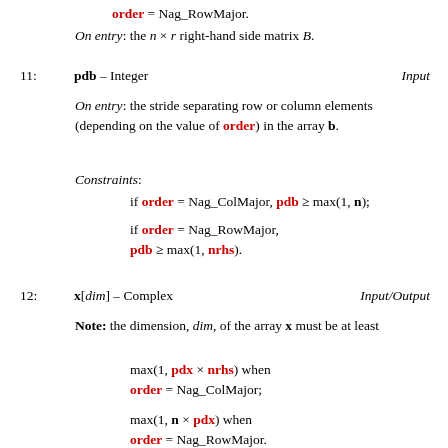order = Nag_RowMajor.
On entry: the n × r right-hand side matrix B.
11: pdb – Integer   Input
On entry: the stride separating row or column elements (depending on the value of order) in the array b.
Constraints:
if order = Nag_ColMajor, pdb ≥ max(1, n);
if order = Nag_RowMajor, pdb ≥ max(1, nrhs).
12: x[dim] – Complex   Input/Output
Note: the dimension, dim, of the array x must be at least
max(1, pdx × nrhs) when order = Nag_ColMajor;
max(1, n × pdx) when order = Nag_RowMajor.